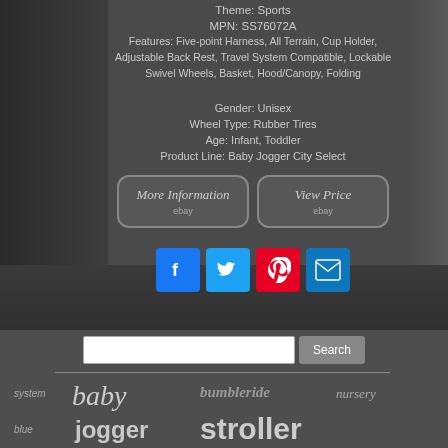Theme: Sports
MPN: SS76072A
Features: Five-point Harness, All Terrain, Cup Holder, Adjustable Back Rest, Travel System Compatible, Lockable Swivel Wheels, Basket, Hood/Canopy, Folding
Gender: Unisex
Wheel Type: Rubber Tires
Age: Infant, Toddler
Product Line: Baby Jogger City Select
[Figure (screenshot): Two eBay buttons: 'More Information' and 'View Price']
[Figure (infographic): Social media share icons: Facebook, Twitter, Pinterest, Email]
[Figure (screenshot): Search bar with Search button]
system  baby  bumbleride  nursery  blue  jogger  stroller